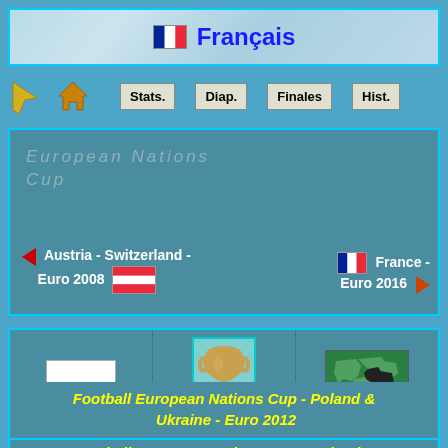Français
[Figure (screenshot): Navigation bar with arrow icon, house icon, and buttons: Stats., Diap., Finales, Hist.]
European Nations Cup
Austria - Switzerland - Euro 2008  ◄  France - Euro 2016 ►
[Figure (screenshot): Three-cell row: Polish flag, UEFA Euro trophy image with cyan border, Europe map with highlighted countries]
Football European Nations Cup - Poland & Ukraine - Euro 2012